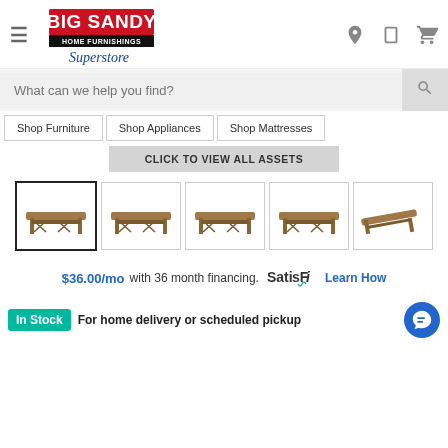[Figure (logo): Big Sandy Home Furnishings Superstore logo with red block letters and blue script]
[Figure (screenshot): Search bar with placeholder text 'What can we help you find?']
Shop Furniture
Shop Appliances
Shop Mattresses
CLICK TO VIEW ALL ASSETS
[Figure (photo): Five thumbnail images of a wooden dining table with trestle base, first one selected/highlighted]
$36.00/mo with 36 month financing. SatisFi Learn How
In Stock For home delivery or scheduled pickup